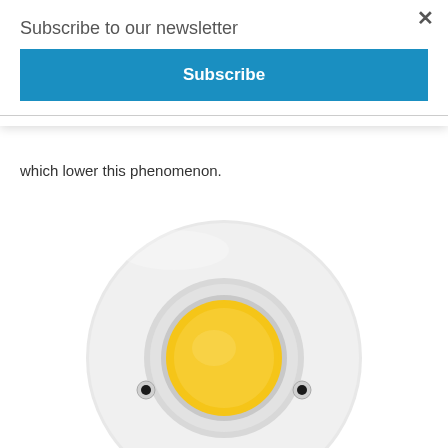Subscribe to our newsletter
Subscribe
which lower this phenomenon.
[Figure (photo): Top-down view of a white round LED COB spotlight module with a warm yellow/amber circular COB LED element in the center and two small screw holes on either side.]